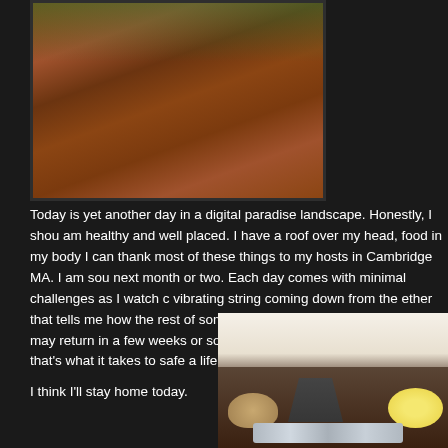[Figure (photo): Close-up photo of a wooden surface (floor or table) with warm reddish-brown wood grain, partially cropped at top]
Today is yet another day in a digital paradise landscape. Honestly, I shou am healthy and well placed. I have a roof over my head, food in my body I can thank most of these things to my hosts in Cambridge MA. I am sou next month or two. Each day comes with minimal challenges as I watch c vibrating string coming down from the ether that tells me how the rest of some agencies which indicate normality may return in a few weeks or so could also mean 2 months but if that's what it takes to safe a life, then it i
I think I'll stay home today.
[Figure (photo): Photo of a kitchen table with food items including a bowl of ingredients, a small appliance (toaster oven or similar), a foil pan with food, and a plate with what appears to be eggs]